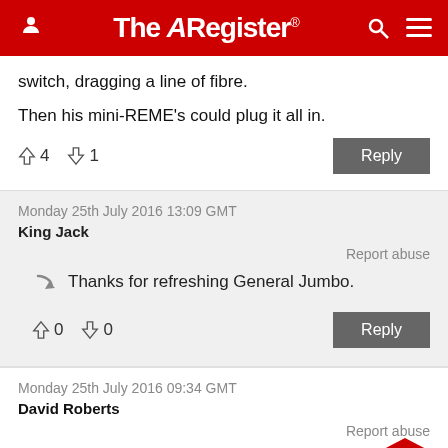The Register
switch, dragging a line of fibre.
Then his mini-REME's could plug it all in.
↑4  ↓1  Reply
Monday 25th July 2016 13:09 GMT
King Jack
Report abuse
Thanks for refreshing General Jumbo.
↑0  ↓0  Reply
Monday 25th July 2016 09:34 GMT
David Roberts
Report abuse
Sell off Openreach?
Making Openreach a separate company...